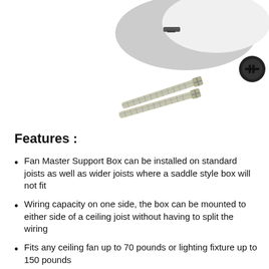[Figure (photo): Product photo showing a ceiling fan support box (round, gray and white plastic), two metal screws, and a black wiring knockout cap on a white background.]
Features :
Fan Master Support Box can be installed on standard joists as well as wider joists where a saddle style box will not fit
Wiring capacity on one side, the box can be mounted to either side of a ceiling joist without having to split the wiring
Fits any ceiling fan up to 70 pounds or lighting fixture up to 150 pounds